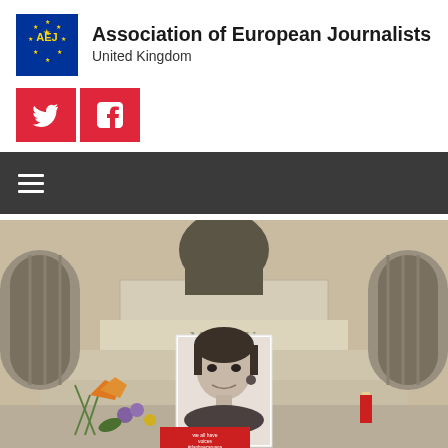[Figure (logo): Association of European Journalists United Kingdom logo with AEJ text in a blue square with yellow stars]
Association of European Journalists
United Kingdom
[Figure (infographic): Social media buttons: Twitter and Facebook icons on red squares]
[Figure (infographic): Dark navigation bar with hamburger menu icon (three white horizontal lines)]
[Figure (photo): Memorial photo placed at the base of a stone monument/statue showing a woman's portrait. Flowers and a candle are placed nearby. A red placard with handwritten text is visible at the base. The monument shows Roman numerals MDLXV.]